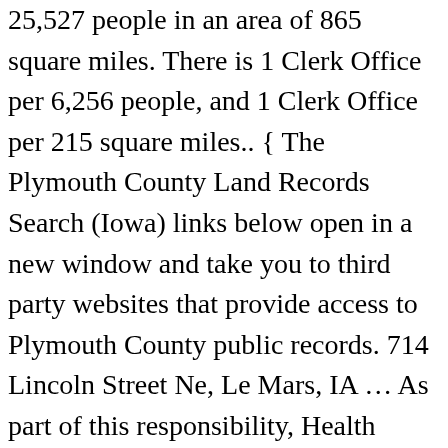25,527 people in an area of 865 square miles. There is 1 Clerk Office per 6,256 people, and 1 Clerk Office per 215 square miles.. { The Plymouth County Land Records Search (Iowa) links below open in a new window and take you to third party websites that provide access to Plymouth County public records. 714 Lincoln Street Ne, Le Mars, IA … As part of this responsibility, Health Departments in Plymouth County, Iowa may provide a range of services, including issuing birth certificates and death certificates. } Out of people who lived in different counties, 46% lived in Iowa.